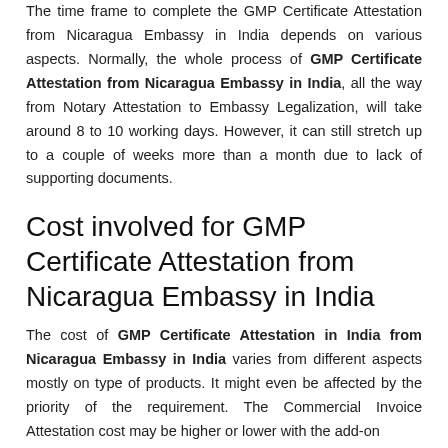The time frame to complete the GMP Certificate Attestation from Nicaragua Embassy in India depends on various aspects. Normally, the whole process of GMP Certificate Attestation from Nicaragua Embassy in India, all the way from Notary Attestation to Embassy Legalization, will take around 8 to 10 working days. However, it can still stretch up to a couple of weeks more than a month due to lack of supporting documents.
Cost involved for GMP Certificate Attestation from Nicaragua Embassy in India
The cost of GMP Certificate Attestation in India from Nicaragua Embassy in India varies from different aspects mostly on type of products. It might even be affected by the priority of the requirement. The Commercial Invoice Attestation cost may be higher or lower with the add-on